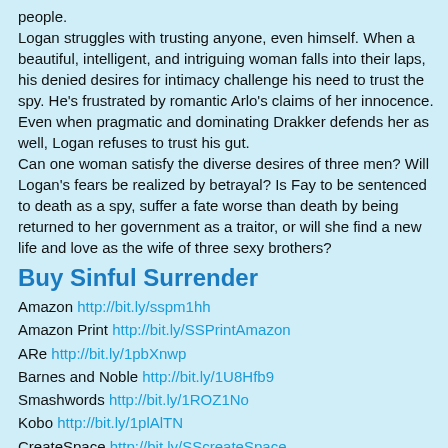people.
Logan struggles with trusting anyone, even himself. When a beautiful, intelligent, and intriguing woman falls into their laps, his denied desires for intimacy challenge his need to trust the spy. He's frustrated by romantic Arlo's claims of her innocence. Even when pragmatic and dominating Drakker defends her as well, Logan refuses to trust his gut.
Can one woman satisfy the diverse desires of three men? Will Logan's fears be realized by betrayal? Is Fay to be sentenced to death as a spy, suffer a fate worse than death by being returned to her government as a traitor, or will she find a new life and love as the wife of three sexy brothers?
Buy Sinful Surrender
Amazon http://bit.ly/sspm1hh
Amazon Print http://bit.ly/SSPrintAmazon
ARe http://bit.ly/1pbXnwp
Barnes and Noble http://bit.ly/1U8Hfb9
Smashwords http://bit.ly/1ROZ1No
Kobo http://bit.ly/1plAlTN
CreateSpace http://bit.ly/SScreateSpace